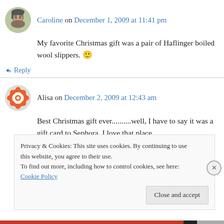Caroline on December 1, 2009 at 11:41 pm
My favorite Christmas gift was a pair of Haflinger boiled wool slippers. 🙂
↳ Reply
Alisa on December 2, 2009 at 12:43 am
Best Christmas gift ever..........well, I have to say it was a gift card to Sephora. I love that place,
Privacy & Cookies: This site uses cookies. By continuing to use this website, you agree to their use. To find out more, including how to control cookies, see here: Cookie Policy
Close and accept